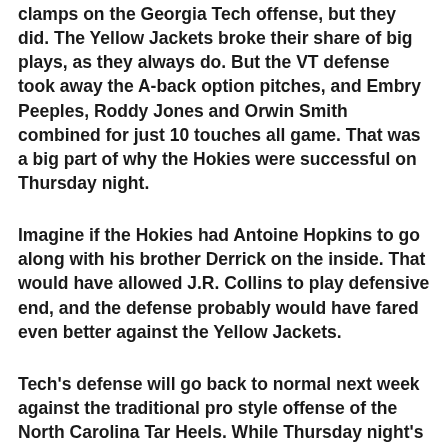clamps on the Georgia Tech offense, but they did. The Yellow Jackets broke their share of big plays, as they always do. But the VT defense took away the A-back option pitches, and Embry Peeples, Roddy Jones and Orwin Smith combined for just 10 touches all game. That was a big part of why the Hokies were successful on Thursday night.
Imagine if the Hokies had Antoine Hopkins to go along with his brother Derrick on the inside. That would have allowed J.R. Collins to play defensive end, and the defense probably would have fared even better against the Yellow Jackets.
Tech's defense will go back to normal next week against the traditional pro style offense of the North Carolina Tar Heels. While Thursday night's performance won't be looked back on as one of the best VT defensive